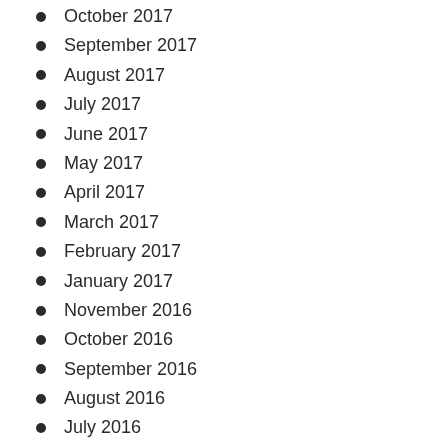October 2017
September 2017
August 2017
July 2017
June 2017
May 2017
April 2017
March 2017
February 2017
January 2017
November 2016
October 2016
September 2016
August 2016
July 2016
June 2016
May 2016
April 2016